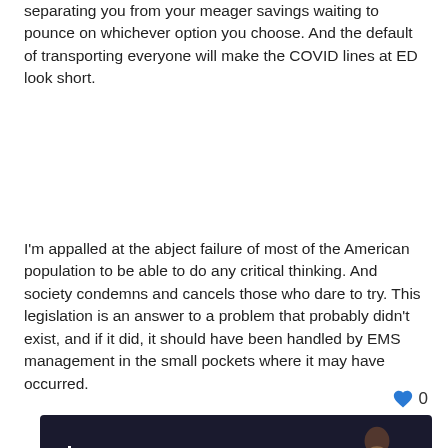separating you from your meager savings waiting to pounce on whichever option you choose. And the default of transporting everyone will make the COVID lines at ED look short.
I'm appalled at the abject failure of most of the American population to be able to do any critical thinking. And society condemns and cancels those who dare to try. This legislation is an answer to a problem that probably didn't exist, and if it did, it should have been handled by EMS management in the small pockets where it may have occurred.
[Figure (logo): Lexipol advertisement banner with dark background, Lexipol logo on left and a person figure on the right]